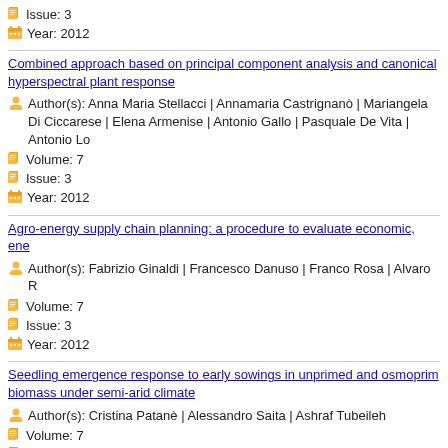Issue: 3
Year: 2012
Combined approach based on principal component analysis and canonical hyperspectral plant response
Author(s): Anna Maria Stellacci | Annamaria Castrignanò | Mariangela Di Ciccarese | Elena Armenise | Antonio Gallo | Pasquale De Vita | Antonio Lo
Volume: 7
Issue: 3
Year: 2012
Agro-energy supply chain planning: a procedure to evaluate economic, ene
Author(s): Fabrizio Ginaldi | Francesco Danuso | Franco Rosa | Alvaro R
Volume: 7
Issue: 3
Year: 2012
Seedling emergence response to early sowings in unprimed and osmoprimed biomass under semi-arid climate
Author(s): Cristina Patanè | Alessandro Saita | Ashraf Tubeileh
Volume: 7
Issue: 3
Year: 2012
Nitrogen fertilization and root growth dynamics of durum wheat for a sustain
Author(s): Donato De Giorgio | Francesco Fornaro
Volume: 7